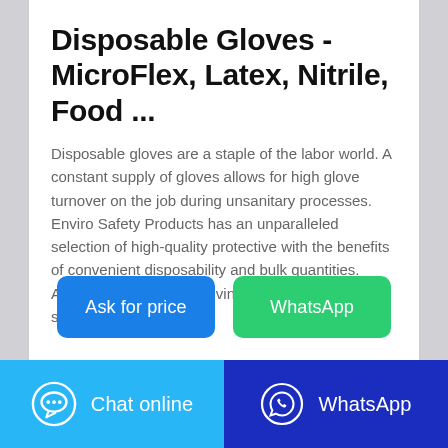Disposable Gloves - MicroFlex, Latex, Nitrile, Food ...
Disposable gloves are a staple of the labor world. A constant supply of gloves allows for high glove turnover on the job during unsanitary processes. Enviro Safety Products has an unparalleled selection of high-quality protective with the benefits of convenient disposability and bulk quantities. Available in latex, nitrile, vinyl, powder-free, non-sterile, and much more.
[Figure (other): Two call-to-action buttons: 'Ask for price' (blue) and 'WhatsApp' (green)]
[Figure (other): Footer bar with two sections: 'Chat online' (light blue with chat bubble icon) and 'WhatsApp' (dark blue with WhatsApp icon)]